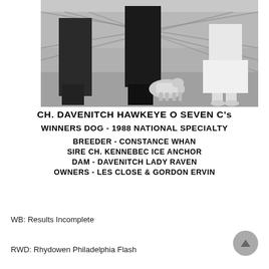[Figure (photo): Black and white photograph of people standing with a dog at what appears to be a dog show, with a fence in the background.]
CH. DAVENITCH HAWKEYE O SEVEN C's
WINNERS DOG - 1988 NATIONAL SPECIALTY
BREEDER - CONSTANCE WHAN
SIRE CH. KENNEBEC ICE ANCHOR
DAM - DAVENITCH LADY RAVEN
OWNERS - LES CLOSE & GORDON ERVIN
WB: Results Incomplete
RWD: Rhydowen Philadelphia Flash